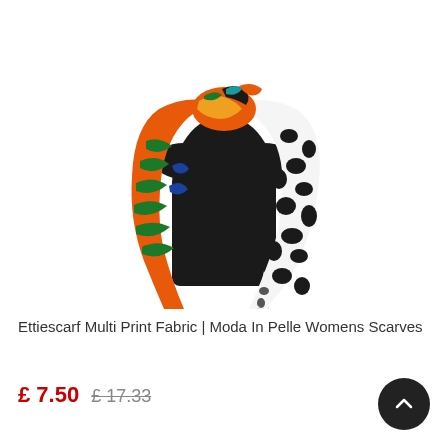[Figure (photo): A black mannequin torso displaying a multi-print fabric scarf with orange, green, blue, white and black patterns tied around the neck]
Ettiescarf Multi Print Fabric | Moda In Pelle Womens Scarves
£ 7.50  £ 17.33